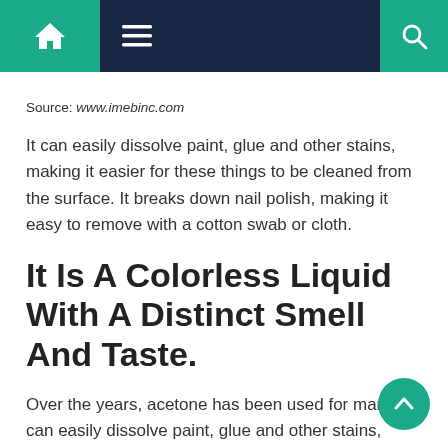Navigation bar with home, menu, and search icons
Source: www.imebinc.com
It can easily dissolve paint, glue and other stains, making it easier for these things to be cleaned from the surface. It breaks down nail polish, making it easy to remove with a cotton swab or cloth.
It Is A Colorless Liquid With A Distinct Smell And Taste.
Over the years, acetone has been used for many. It can easily dissolve paint, glue and other stains, making it easier for these things to be cleaned from the surface. Some people who drink water containing radium 226 or 228 in